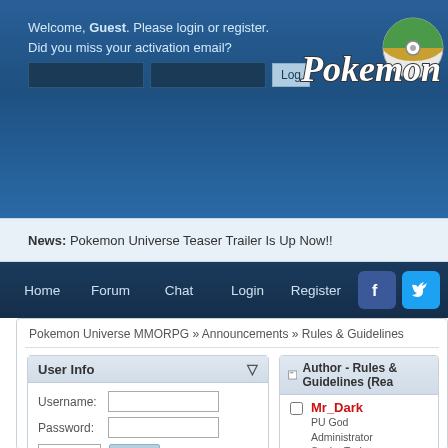Welcome, Guest. Please login or register. Did you miss your activation email?
[Figure (logo): Pokemon Universe MMORPG logo with stylized 'Pokemon' text and a green/tan Pokeball]
News: Pokemon Universe Teaser Trailer Is Up Now!!
Home  Forum  Chat  Login  Register
Pokemon Universe MMORPG » Announcements » Rules & Guidelines
User Info
Username: [field] Password: [field] Forever Login Welcome, Guest. Please login or register. Did you miss your activation email?
Author - Rules & Guidelines (Read only)
Mr_Dark
PU God
Administrator
Senior Trainer
Posts: 9.502
Karma: 52
QQ
Rules... « September 09:24:5... The for... you will... been ac...